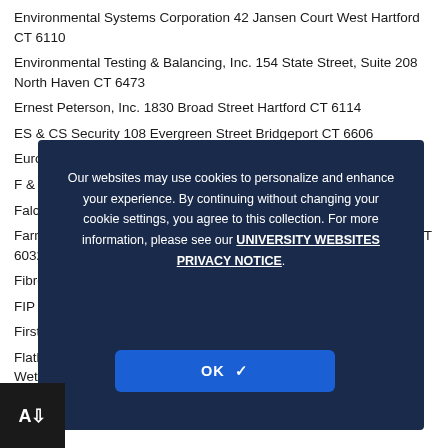Environmental Systems Corporation 42 Jansen Court West Hartford CT 6110
Environmental Testing & Balancing, Inc. 154 State Street, Suite 208 North Haven CT 6473
Ernest Peterson, Inc. 1830 Broad Street Hartford CT 6114
ES & CS Security 108 Evergreen Street Bridgeport CT 6606
Eurotech Millwork, Inc. 75 Progress Lane Waterbury CT 6705
F & F Industries 5 Hollister Street Collinsville/Southwick CT 6090
Falcon Steel 1150 Mitchell Drive Manchester CT 6040
Farmington Concrete Contractors 200 Farmyard Road Farmington CT 6032
Fibre Optic Plus 302 Adams Street Manchester CT 6040
FIP Construction, Inc. 10 McKee Place Cheshire CT 6410
Firstglass Construction 1 Bloomfield Road Windsor CT 6095
Flatley's Landscaping Berlin Turnpike/Deane Highway, Suite 202 Wethersfield CT 6109
Our websites may use cookies to personalize and enhance your experience. By continuing without changing your cookie settings, you agree to this collection. For more information, please see our UNIVERSITY WEBSITES PRIVACY NOTICE.
OK ✓